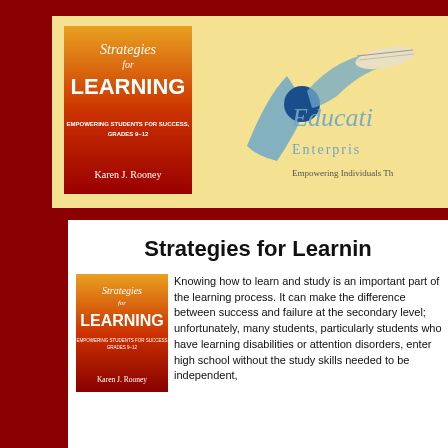[Figure (illustration): Top banner with dark red background, cream/yellow inner panel showing a book cover 'Strategies for Learning - Empowering Students for Success, Grades 9-12 by Karen J. Rooney' on the left, and 'Educational Enterprises - Empowering Individuals Th...' logo on the right]
Strategies for Learning
[Figure (illustration): Small book cover thumbnail: Strategies for Learning, by Karen J. Rooney, orange/red background]
Knowing how to learn and study is an important part of the learning process. It can make the difference between success and failure at the secondary level; unfortunately, many students, particularly students who have learning disabilities or attention disorders, enter high school without the study skills needed to be independent,